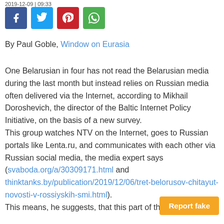2019-12-09 | 09:33
[Figure (other): Social media share buttons: Facebook (blue), Twitter (light blue), Pinterest (red), WhatsApp (green)]
By Paul Goble, Window on Eurasia
One Belarusian in four has not read the Belarusian media during the last month but instead relies on Russian media often delivered via the Internet, according to Mikhail Doroshevich, the director of the Baltic Internet Policy Initiative, on the basis of a new survey.
This group watches NTV on the Internet, goes to Russian portals like Lenta.ru, and communicates with each other via Russian social media, the media expert says (svaboda.org/a/30309171.html and thinktanks.by/publication/2019/12/06/tret-belorusov-chitayut-novosti-v-rossiyskih-smi.html).
This means, he suggests, that this part of th...